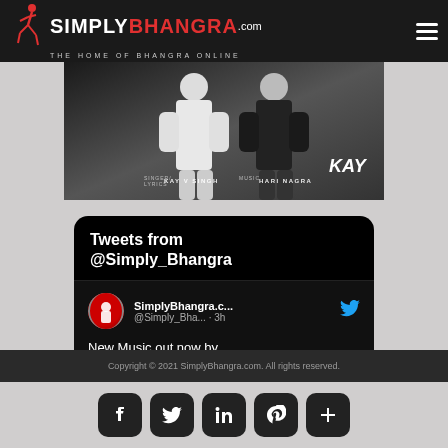[Figure (logo): Simply Bhangra .com logo with dancer silhouette and tagline THE HOME OF BHANGRA ONLINE on dark background]
[Figure (photo): Music promotional photo showing two people, with text SINGER/LYRICS KAY V SINGH MUSIC HARI NAGRA and KAY logo]
[Figure (screenshot): Twitter widget showing Tweets from @Simply_Bhangra with a tweet from SimplyBhangra.c... (@Simply_Bha... · 3h) saying New Music out now by @Booboo 1]
Copyright © 2021 SimplyBhangra.com. All rights reserved.
[Figure (infographic): Social media icon buttons for Facebook, Twitter, LinkedIn, Pinterest, and a plus icon on rounded square dark backgrounds]